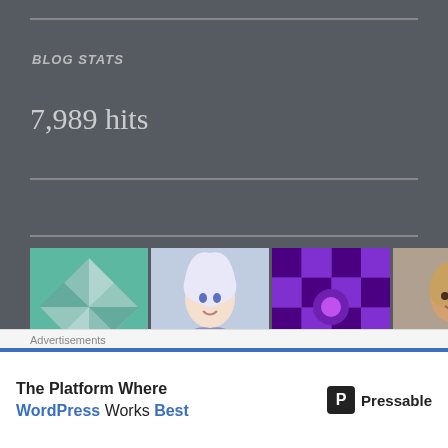BLOG STATS
7,989 hits
[Figure (illustration): Row of 8 avatar/profile thumbnails including geometric patterns, illustrated portrait, purple mosaic, photo of person, robot icon, city photo, marketing icon, and group photo]
[Figure (illustration): Two partially visible avatar thumbnails: an older man photo and a green geometric pattern]
Advertisements
The Platform Where WordPress Works Best — Pressable